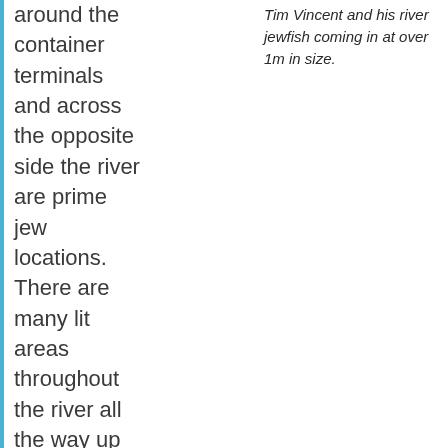around the container terminals and across the opposite side the river are prime jew locations. There are many lit areas throughout the river all the way up to St Lucia, therefore moving from light source to light source will
Tim Vincent and his river jewfish coming in at over 1m in size.